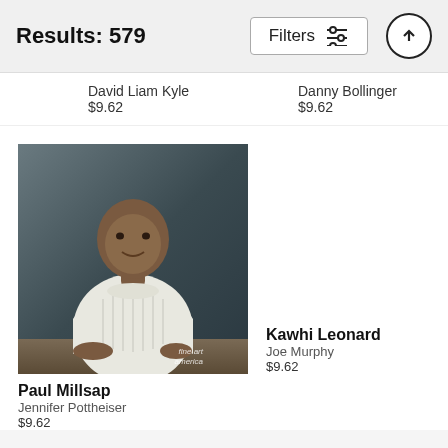Results: 579
David Liam Kyle
$9.62
Danny Bollinger
$9.62
[Figure (photo): Portrait photo of Paul Millsap, a man in a white sweater leaning forward against a dark background, with a 'fine art america' watermark in lower right corner]
Paul Millsap
Jennifer Pottheiser
$9.62
Kawhi Leonard
Joe Murphy
$9.62